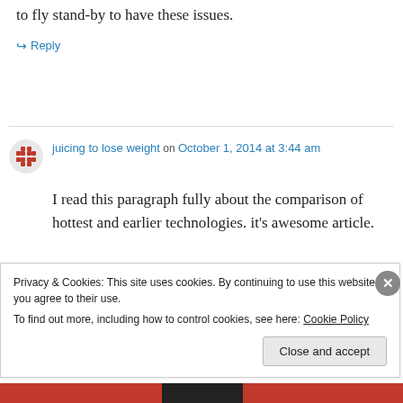to fly stand-by to have these issues.
↪ Reply
juicing to lose weight on October 1, 2014 at 3:44 am
I read this paragraph fully about the comparison of hottest and earlier technologies. it's awesome article.
Privacy & Cookies: This site uses cookies. By continuing to use this website, you agree to their use.
To find out more, including how to control cookies, see here: Cookie Policy
Close and accept